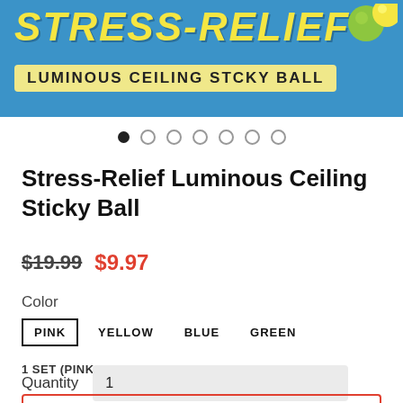[Figure (photo): Product banner with blue background showing 'STRESS-RELIEF LUMINOUS CEILING STCKY BALL' text and green/yellow balls in top right corner]
• ○ ○ ○ ○ ○ ○
Stress-Relief Luminous Ceiling Sticky Ball
$19.99  $9.97
Color
PINK   YELLOW   BLUE   GREEN
1 SET (PINK, YELLOW, BLUE, GREEN)
Quantity  1